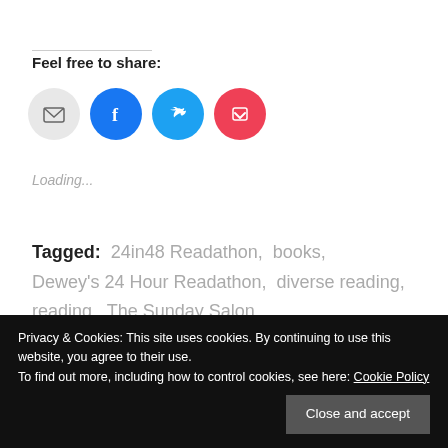Feel free to share:
[Figure (infographic): Four circular social share buttons: email (grey), Facebook (blue), Twitter (cyan), Pocket (red/pink)]
Loading...
Tagged:  24in48 Readathon,  books,  Dewey's 24 Hour Readathon,  diverse reading,  reading,  The Sunday Salon
Privacy & Cookies: This site uses cookies. By continuing to use this website, you agree to their use.
To find out more, including how to control cookies, see here: Cookie Policy
Close and accept
Robinson